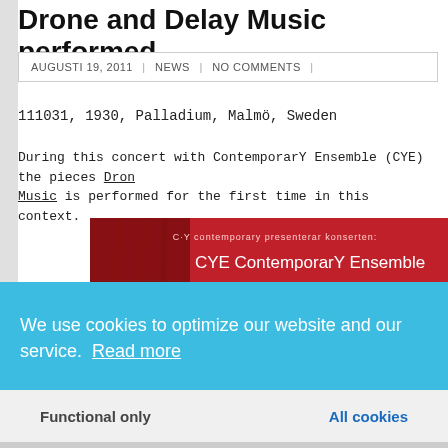Drone and Delay Music performed
AUGUSTI 19, 2011 | NEWS | NO COMMENTS |
111031, 1930, Palladium, Malmö, Sweden
During this concert with ContemporarY Ensemble (CYE) the pieces Dron Music is performed for the first time in this context.
[Figure (photo): CYE ContemporarY Ensemble concert poster with red background and text 'MORE Open' and 'Ny kammarmusik från hela världen']
We use cookies to optimize our website and our service. Read more
Functional only
All cookies